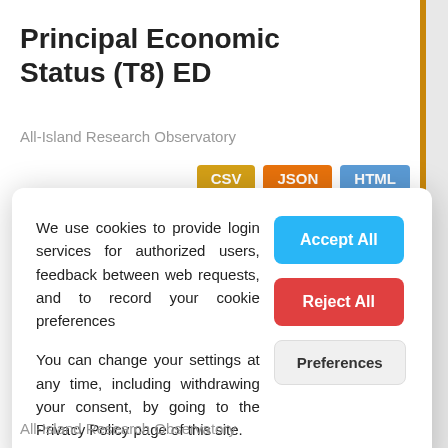Principal Economic Status (T8) ED
All-Island Research Observatory
CSV JSON HTML
★★★☆☆ 144 views
We use cookies to provide login services for authorized users, feedback between web requests, and to record your cookie preferences
You can change your settings at any time, including withdrawing your consent, by going to the Privacy Policy page of this site.
Accept All
Reject All
Preferences
All-Island Research Observatory